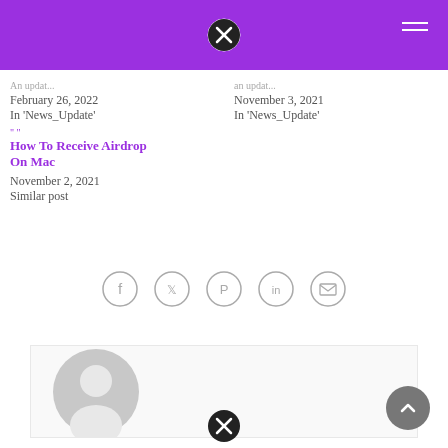February 26, 2022
In 'News_Update'
November 3, 2021
In 'News_Update'
How To Receive Airdrop On Mac
November 2, 2021
Similar post
[Figure (infographic): Row of 5 social sharing icons in circles: Facebook, Twitter, Pinterest, LinkedIn, Email]
[Figure (illustration): Default user avatar placeholder in grey]
[Figure (other): Scroll to top button, grey circle with upward chevron]